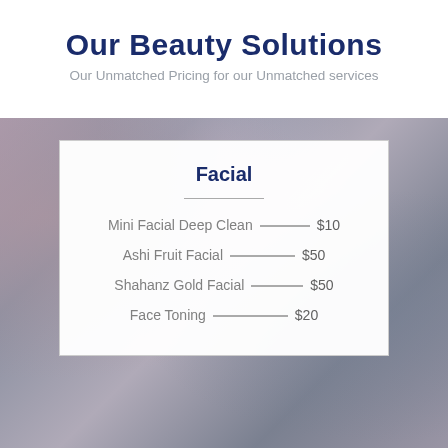Our Beauty Solutions
Our Unmatched Pricing for our Unmatched services
Facial
Mini Facial Deep Clean — $10
Ashi Fruit Facial — $50
Shahanz Gold Facial — $50
Face Toning — $20